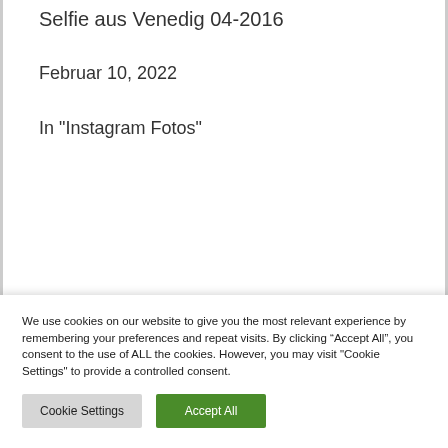Selfie aus Venedig 04-2016
Februar 10, 2022
In "Instagram Fotos"
We use cookies on our website to give you the most relevant experience by remembering your preferences and repeat visits. By clicking “Accept All”, you consent to the use of ALL the cookies. However, you may visit "Cookie Settings" to provide a controlled consent.